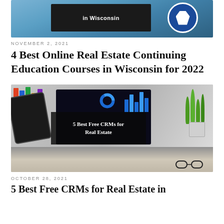[Figure (photo): Blue sky background with a black sign reading 'in Wisconsin' and a blue circular Wisconsin state sign]
NOVEMBER 2, 2021
4 Best Online Real Estate Continuing Education Courses in Wisconsin for 2022
[Figure (photo): Laptop showing CRM dashboard charts with overlay text '5 Best Free CRMs for Real Estate', tablet, plant, glasses, and hands on keyboard]
OCTOBER 28, 2021
5 Best Free CRMs for Real Estate in